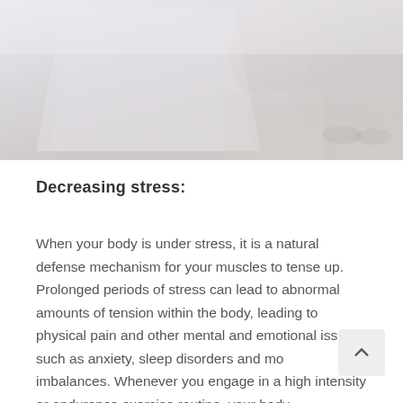[Figure (photo): A woman at a desk, likely in a healthcare or office setting, photographed from behind/side angle; image is washed out in light grays and whites.]
Decreasing stress:
When your body is under stress, it is a natural defense mechanism for your muscles to tense up. Prolonged periods of stress can lead to abnormal amounts of tension within the body, leading to physical pain and other mental and emotional issues such as anxiety, sleep disorders and mood imbalances. Whenever you engage in a high intensity or endurance exercise routine, your body